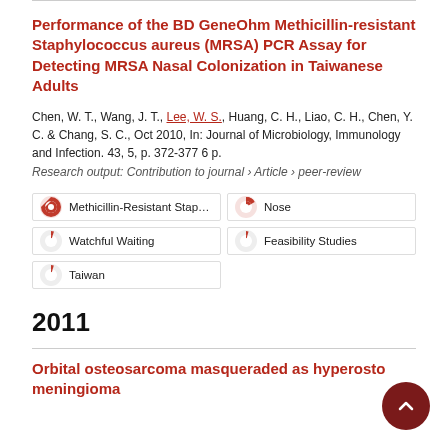Performance of the BD GeneOhm Methicillin-resistant Staphylococcus aureus (MRSA) PCR Assay for Detecting MRSA Nasal Colonization in Taiwanese Adults
Chen, W. T., Wang, J. T., Lee, W. S., Huang, C. H., Liao, C. H., Chen, Y. C. & Chang, S. C., Oct 2010, In: Journal of Microbiology, Immunology and Infection. 43, 5, p. 372-377 6 p.
Research output: Contribution to journal › Article › peer-review
Methicillin-Resistant Staphyloc
Nose
Watchful Waiting
Feasibility Studies
Taiwan
2011
Orbital osteosarcoma masqueraded as hyperostotic meningioma